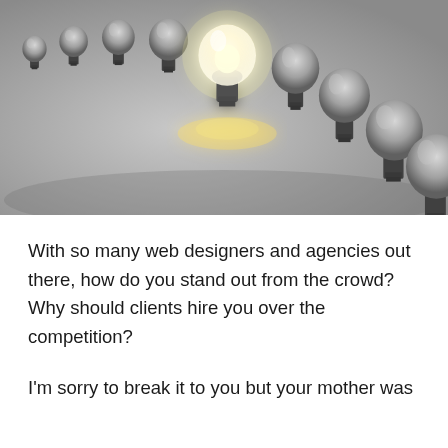[Figure (photo): A row of light bulbs arranged in a diagonal arc. One bulb near the center-left is glowing brightly white, while all others are dark/unlit glass bulbs. The background is a neutral gray surface.]
With so many web designers and agencies out there, how do you stand out from the crowd? Why should clients hire you over the competition?
I'm sorry to break it to you but your mother was